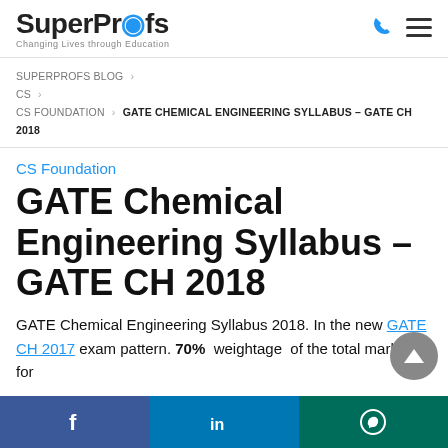SuperProfs — Changing Lives Through Education
SUPERPROFS BLOG > CS > CS FOUNDATION > GATE CHEMICAL ENGINEERING SYLLABUS – GATE CH 2018
CS Foundation
GATE Chemical Engineering Syllabus – GATE CH 2018
GATE Chemical Engineering Syllabus 2018. In the new GATE CH 2017 exam pattern. 70% weightage of the total marks is for